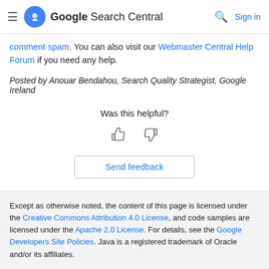Google Search Central  Sign in
comment spam. You can also visit our Webmaster Central Help Forum if you need any help.
Posted by Anouar Bendahou, Search Quality Strategist, Google Ireland
Was this helpful?
[Figure (illustration): Thumbs up and thumbs down icons for feedback]
Send feedback
Except as otherwise noted, the content of this page is licensed under the Creative Commons Attribution 4.0 License, and code samples are licensed under the Apache 2.0 License. For details, see the Google Developers Site Policies. Java is a registered trademark of Oracle and/or its affiliates.